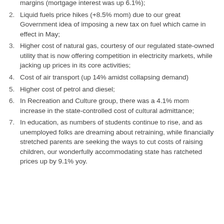margins (mortgage interest was up 6.1%);
Liquid fuels price hikes (+8.5% mom) due to our great Government idea of imposing a new tax on fuel which came in effect in May;
Higher cost of natural gas, courtesy of our regulated state-owned utility that is now offering competition in electricity markets, while jacking up prices in its core activities;
Cost of air transport (up 14% amidst collapsing demand)
Higher cost of petrol and diesel;
In Recreation and Culture group, there was a 4.1% mom increase in the state-controlled cost of cultural admittance;
In education, as numbers of students continue to rise, and as unemployed folks are dreaming about retraining, while financially stretched parents are seeking the ways to cut costs of raising children, our wonderfully accommodating state has ratcheted prices up by 9.1% yoy.